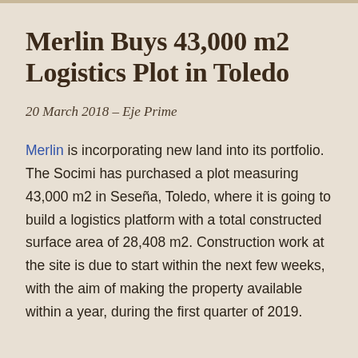Merlin Buys 43,000 m2 Logistics Plot in Toledo
20 March 2018 – Eje Prime
Merlin is incorporating new land into its portfolio. The Socimi has purchased a plot measuring 43,000 m2 in Seseña, Toledo, where it is going to build a logistics platform with a total constructed surface area of 28,408 m2. Construction work at the site is due to start within the next few weeks, with the aim of making the property available within a year, during the first quarter of 2019.